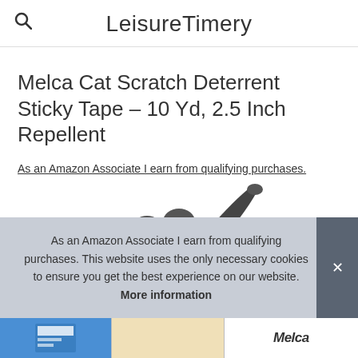LeisureTimery
Melca Cat Scratch Deterrent Sticky Tape – 10 Yd, 2.5 Inch Repellent
As an Amazon Associate I earn from qualifying purchases.
[Figure (photo): Partial photo of a cat with raised paw/arm visible at top]
As an Amazon Associate I earn from qualifying purchases. This website uses the only necessary cookies to ensure you get the best experience on our website. More information
[Figure (photo): Bottom strip showing product images including blue packaging and Melca brand logo]